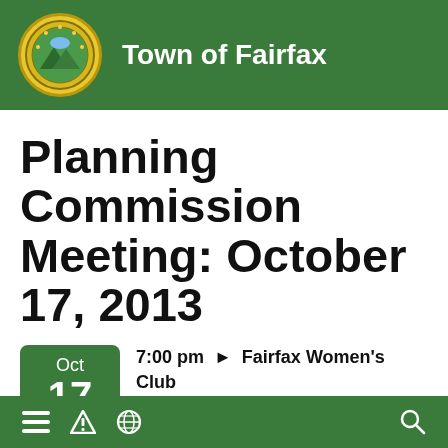Town of Fairfax
Planning Commission Meeting: October 17, 2013
Oct 17 2013
7:00 pm ▶ Fairfax Women's Club
Fairfax Women's Club - 46 Park Road, Fairfax 94930
≡ ▲ 🌐 🔍